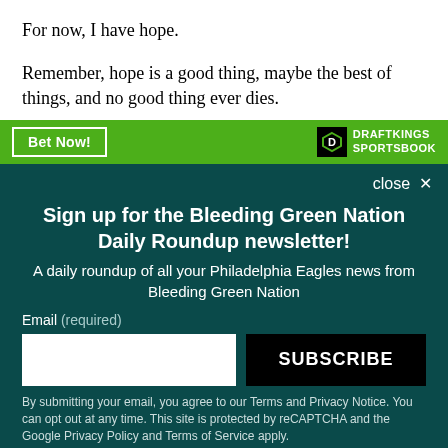For now, I have hope.
Remember, hope is a good thing, maybe the best of things, and no good thing ever dies.
[Figure (other): DraftKings Sportsbook advertisement banner with green background, 'Bet Now!' button on left and DraftKings Sportsbook logo on right]
close ×
Sign up for the Bleeding Green Nation Daily Roundup newsletter!
A daily roundup of all your Philadelphia Eagles news from Bleeding Green Nation
Email (required)
SUBSCRIBE
By submitting your email, you agree to our Terms and Privacy Notice. You can opt out at any time. This site is protected by reCAPTCHA and the Google Privacy Policy and Terms of Service apply.